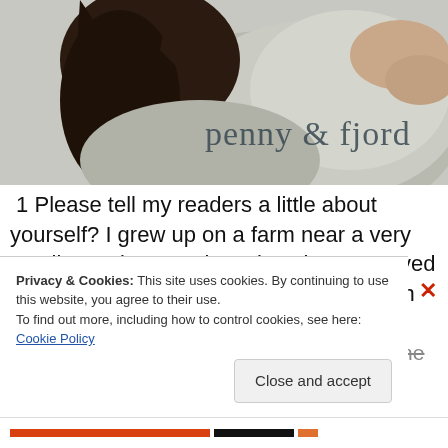[Figure (illustration): Book cover image showing a person with dark hair bent forward, wearing a light-colored jacket, with handwritten-style text reading 'penny & fjord' overlaid on the image. Grayscale/muted color palette.]
1 Please tell my readers a little about yourself? I grew up on a farm near a very small town in central North Dakota. I moved out of state for veterinary school and then on to Los Angeles Angeles more training in equine medicine and
Privacy & Cookies: This site uses cookies. By continuing to use this website, you agree to their use.
To find out more, including how to control cookies, see here: Cookie Policy
Close and accept